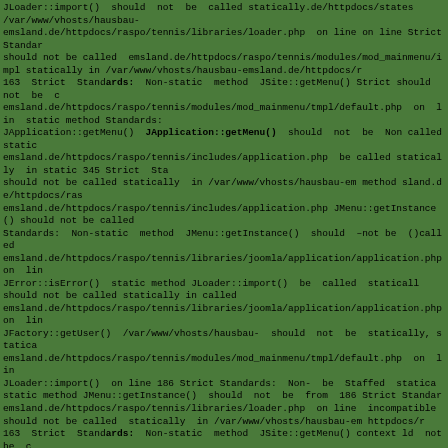JLoader::import() should not be called statically in /var/www/vhosts/hausbau-emsland.de/httpdocs/raspo/tennis/libraries/loader.php on line 186 Strict Standards: Non-static method should not be called statically in /var/www/vhosts/hausbau-emsland.de/httpdocs/raspo/tennis/modules/mod_mainmenu/impl on line 12 Strict Standards: Non-static method JSite::getMenu() Strict Standards: Non-static method static method JApplication::getMenu() should not be called statically in /var/www/vhosts/hausbau-emsland.de/httpdocs/raspo/tennis/includes/application.php on line 345 Strict Standards: Non-static method JMenu::getInstance() should not be called statically in /var/www/vhosts/hausbau-emsland.de/httpdocs/raspo/tennis/libraries/joomla/application/application.php on line 345 Strict Standards: Non-static method JLoader::import() should not be called statically in /var/www/vhosts/hausbau-emsland.de/httpdocs/raspo/tennis/libraries/joomla/application/application.php on line JError::isError() should not be called statically in /var/www/vhosts/hausbau-emsland.de/httpdocs/raspo/tennis/libraries/joomla/application/application.php on line JFactory::getUser() should not be statically statically emsland.de/httpdocs/raspo/tennis/modules/mod_mainmenu/tmpl/default.php on line 186 Strict Standards: Non-static method JMenu::getInstance() should not be called statically from 186 Strict Standards: incompatible context JLoader::import() should not be called statically in /var/www/vhosts/hausbau-emsland.de/httpdocs/raspo/tennis/libraries/loader.php on line 163 Strict Standards: Non-static method JSite::getMenu() should not be called statically context JApplication::getMenu() should not be called statically in /var/www/vhosts/hausbau-emsland.de/httpdocs/raspo/tennis/modules/mod_mainmenu/tmpl/default.php on line 720 Strict Standards: Non-static method JError::isError() should not be called statically in /var/www/vhosts/hausbau-emsland.de/httpdocs/raspo/tennis/includes/application.php on line 345 Strict Standards: Non-static method JMenu::getInstance() should not be called statically on line 38 Standards: Non-static method emsland.de/httpdocs/raspo/tennis/libraries/joomla/application/application.php on line 721 Strict Standards: Non-static JError::isError() should not be called statically in static method JFactory::getUser() should not be called statically in /var/www/vhosts/hausbau-emsland.de/httpdocs/raspo/tennis/libraries/joomla/application/application.php on line JFactory::getUser() should not be called statically method emsland.de/httpdocs/raspo/tennis/modules/mod_mainmenu/tmpl/default.php on line JLoader::import() emsland.de/httpdocs/raspo/tennis/modules/mod_mainmenu/impl JLoader::register statically on line 11 Strict Standards: Non-static method JLoader::import() static method JLoader::import() should not be called statically in /var/www/vhosts/hausbau-emsland.de/httpdocs/raspo/tennis/libraries/loader.php on line should not be called statically in 163 Strict Standards: Non-static method JSite::getMenu() called should not be /var/www/vhosts/hausbau-